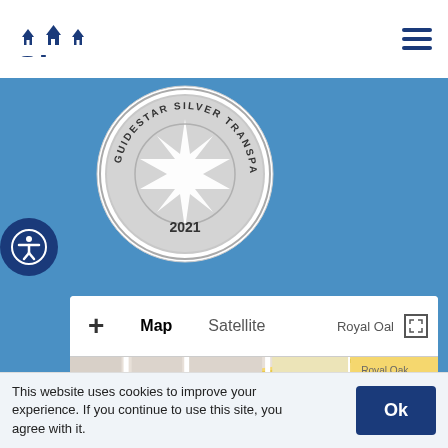Share
[Figure (logo): Share organization logo with house icons and text 'Share' in dark blue]
[Figure (illustration): GuideStar Silver Transparency 2021 badge/seal - circular silver badge with star emblem]
[Figure (map): Google Maps screenshot showing area with Barnes & Noble, Goodwill Industries of the Columbia Willamette, Sky Zone Trampoline Park. Map controls visible: zoom +/-, Map/Satellite toggle, fullscreen button. Highway 500 visible.]
This website uses cookies to improve your experience. If you continue to use this site, you agree with it.